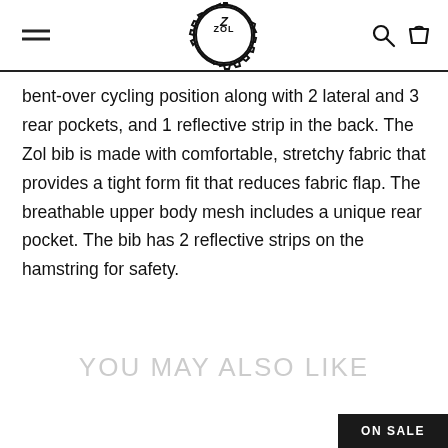ZOL (logo with hamburger menu, search icon, cart icon)
bent-over cycling position along with 2 lateral and 3 rear pockets, and 1 reflective strip in the back. The Zol bib is made with comfortable, stretchy fabric that provides a tight form fit that reduces fabric flap. The breathable upper body mesh includes a unique rear pocket. The bib has 2 reflective strips on the hamstring for safety.
YOU MAY ALSO LIKE
ON SALE